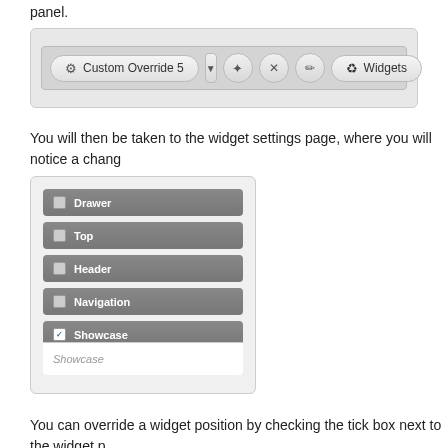panel.
[Figure (screenshot): Toolbar showing Custom Override 5 dropdown with gear icon, plus/add button, X button, edit/pencil button, and Widgets button]
You will then be taken to the widget settings page, where you will notice a chan
[Figure (screenshot): Widget positions panel showing checkboxes for Drawer, Top, Header, Navigation, and Showcase (checked) with Showcase expanded below]
You can override a widget position by checking the tick box next to the widget p